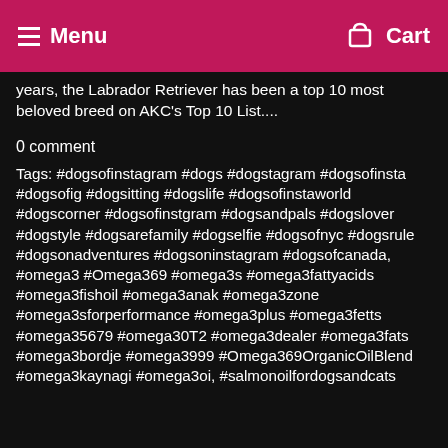Menu  Cart
years, the Labrador Retriever has been a top 10 most beloved breed on AKC's Top 10 List....
0 comment
Tags: #dogsofinstagram #dogs #dogstagram #dogsofinsta #dogsofig #dogsitting #dogslife #dogsofinstaworld #dogscorner #dogsofinstgram #dogsandpals #dogslover #dogstyle #dogsarefamily #dogselfie #dogsofnyc #dogsrule #dogsonadventures #dogsoninstagram #dogsofcanada, #omega3 #Omega369 #omega3s #omega3fattyacids #omega3fishoil #omega3anak #omega3zone #omega3sforperformance #omega3plus #omega3fetts #omega35679 #omega30T2 #omega3dealer #omega3fats #omega3bordje #omega3999 #Omega369OrganicOilBlend #omega3kaynagi #omega3oi, #salmonoilfordogsandcats